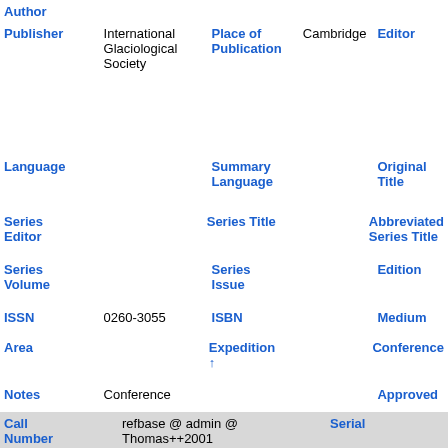| Author |  |  |  |  |  |
| Publisher | International Glaciological Society | Place of Publication | Cambridge | Editor |  |
| Language |  | Summary Language |  | Original Title |  |
| Series Editor |  | Series Title |  | Abbreviated Series Title |  |
| Series Volume |  | Series Issue |  | Edition |  |
| ISSN | 0260-3055 | ISBN |  | Medium |  |
| Area |  | Expedition ↑ |  | Conference |  |
| Notes | Conference |  |  | Approved |  |
| Call Number | refbase @ admin @ Thomas++2001 | Serial |  |  |  |